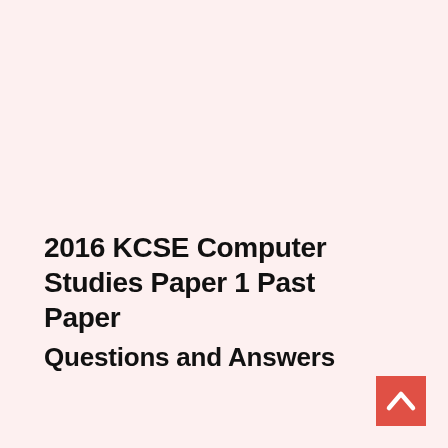2016 KCSE Computer Studies Paper 1 Past Paper
Questions and Answers
[Figure (other): Red square button with white upward-pointing chevron/arrow icon in the bottom-right corner]